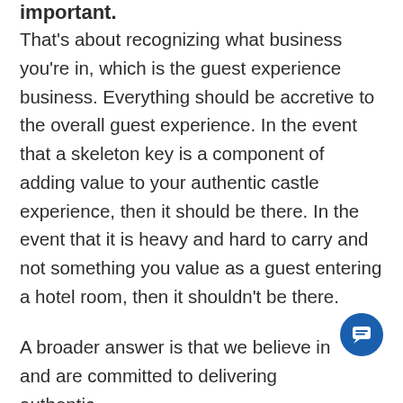important.
That's about recognizing what business you're in, which is the guest experience business. Everything should be accretive to the overall guest experience. In the event that a skeleton key is a component of adding value to your authentic castle experience, then it should be there. In the event that it is heavy and hard to carry and not something you value as a guest entering a hotel room, then it shouldn't be there.
A broader answer is that we believe in and are committed to delivering authentic